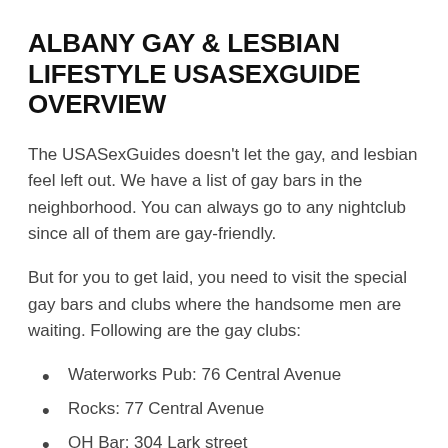ALBANY GAY & LESBIAN LIFESTYLE USASEXGUIDE OVERVIEW
The USASexGuides doesn't let the gay, and lesbian feel left out. We have a list of gay bars in the neighborhood. You can always go to any nightclub since all of them are gay-friendly.
But for you to get laid, you need to visit the special gay bars and clubs where the handsome men are waiting. Following are the gay clubs:
Waterworks Pub: 76 Central Avenue
Rocks: 77 Central Avenue
OH Bar: 304 Lark street
We have even better news for you. As you know,